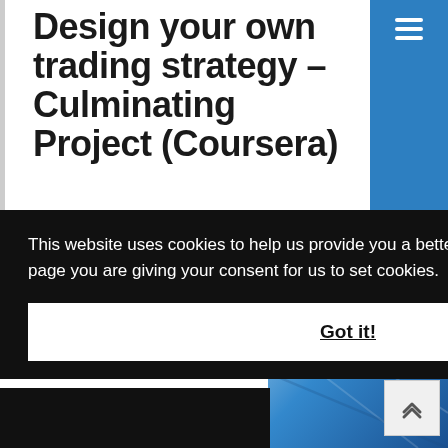Design your own trading strategy – Culminating Project (Coursera)
This website uses cookies to help us provide you a better experience. By clicking any link on this page you are giving your consent for us to set cookies. Learn more
Got it!
[Figure (photo): Blue abstract background photo with books/technology, partially visible in bottom right corner]